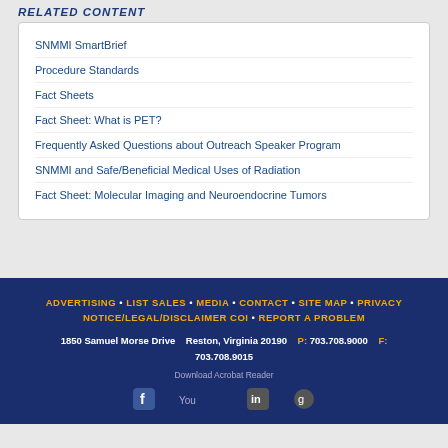RELATED CONTENT
SNMMI SmartBrief
Procedure Standards
Fact Sheets
Fact Sheet: What is PET?
Frequently Asked Questions about Outreach Speaker Program
SNMMI and Safe/Beneficial Medical Uses of Radiation
Fact Sheet: Molecular Imaging and Neuroendocrine Tumors
ADVERTISING • LIST SALES • MEDIA • CONTACT • SITE MAP • PRIVACY NOTICE/LEGAL/DISCLAIMER COI • REPORT A PROBLEM
1850 Samuel Morse Drive   Reston, Virginia 20190   P: 703.708.9000   F: 703.708.9015
Download Acrobat Reader